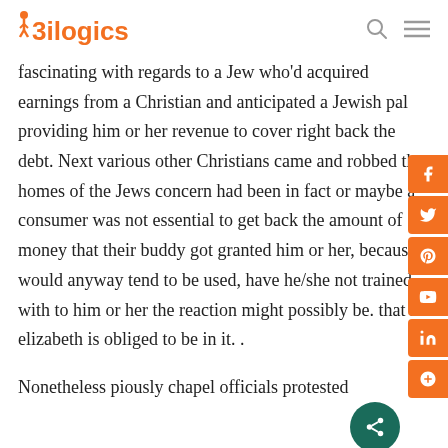3ilogics
fascinating with regards to a Jew who'd acquired earnings from a Christian and anticipated a Jewish pal providing him or her revenue to cover right back the debt. Next various other Christians came and robbed the homes of the Jews concern had been in fact or maybe a consumer was not essential to get back the amount of money that their buddy got granted him or her, because would anyway tend to be used, have he/she not trained with to him or her the reaction might possibly be. that h elizabeth is obliged to be in it. .
Nonetheless piously chapel officials protested